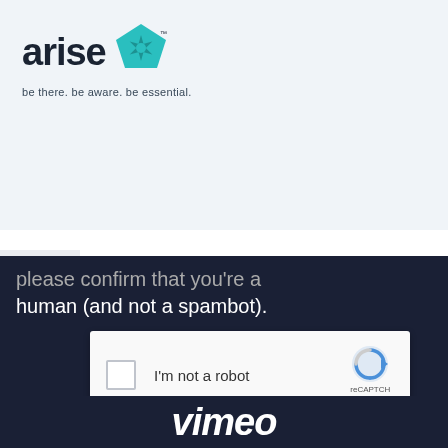[Figure (logo): Arise logo with teal pentagon/aperture icon and tagline 'be there. be aware. be essential.']
back to top ›
please confirm that you're a human (and not a spambot).
[Figure (screenshot): reCAPTCHA widget with checkbox and 'I'm not a robot' label, reCAPTCHA logo, Privacy and Terms links]
[Figure (logo): Vimeo logo in white italic text at bottom of dark section]